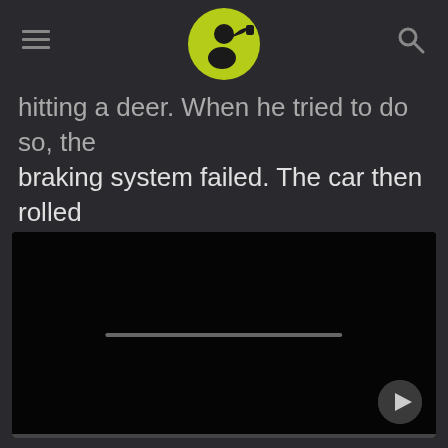[Logo: person drinking, yellow-green circle] [hamburger menu] [search icon]
hitting a deer. When he tried to do so, the braking system failed. The car then rolled violently until it reached a stop.
[Figure (screenshot): Black video player with a grey progress bar in the center and a play button in the bottom-right corner]